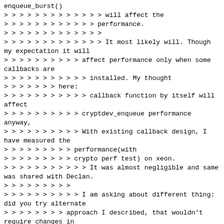enqueue_burst()
> > > > > > > > > > > > > will affect the
> > > > > > > > > > > > performance.
> > > > > > > > > > > > >
> > > > > > > > > > > > > It most likely will. Though my expectation it will
> > > > > > > > > > affect performance only when some callbacks are
> > > > > > > > > > > > installed. My thought
> > > > > > > here:
> > > > > > > > > > > callback function by itself will affect
> > > > > > > > > > cryptdev_enqueue performance anyway,
> > > > > > > > > > > With existing callback design, I have measured the
> > > > > > > > > performance(with
> > > > > > > > > crypto perf test) on xeon.
> > > > > > > > > > > It was almost negligible and same was shared with Declan.
> > > > > > > > >
> > > > > > > > > > I am asking about different thing: did you try alternate
> > > > > > > > approach I described, that wouldn't require changes in
> > > > > > > > the user data-
> > > > > plane code.
> > > > > > > > >
> > > > > > > > > > > That is one of the reasons, I didn't want to add to
> > > > > > > > > > > many stuffs in to the